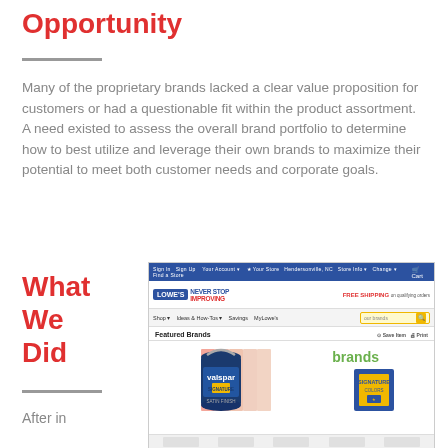Opportunity
Many of the proprietary brands lacked a clear value proposition for customers or had a questionable fit within the product assortment.  A need existed to assess the overall brand portfolio to determine how to best utilize and leverage their own brands to maximize their potential to meet both customer needs and corporate goals.
What We Did
[Figure (screenshot): Screenshot of Lowe's website showing 'Featured Brands' page with Valspar paint can, paint color swatches, and Signature Colors branding. The page shows the Lowe's NEVER STOP IMPROVING header, navigation bar, and a search box with 'our brands' typed in it.]
After in